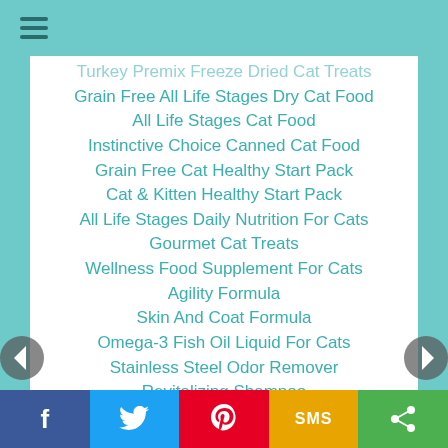Turkey Premix Freeze Dried Cat Treats
Grain Free All Life Stages Dry Cat Food
All Life Stages Cat Food
Instinctive Choice Canned Cat Food
Grain Free Cat Healthy Start Pack
Cat & Kitten Healthy Start Pack
All Life Stages Daily Nutrition For Cats
Gourmet Cat Treats
Wellness Food Supplement For Cats
Agility Formula
Skin And Coat Formula
Omega-3 Fish Oil Liquid For Cats
Stainless Steel Odor Remover
Revitalizing Shampoo
Bath Fresh Mist